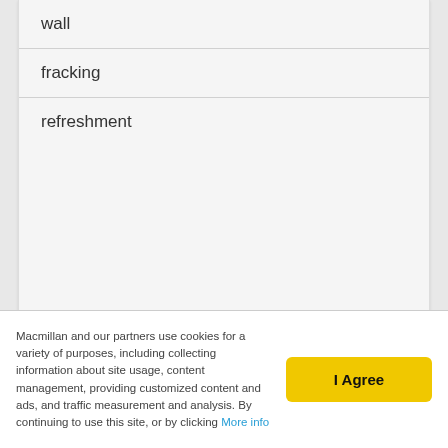wall
fracking
refreshment
About Macmillan
Macmillan and our partners use cookies for a variety of purposes, including collecting information about site usage, content management, providing customized content and ads, and traffic measurement and analysis. By continuing to use this site, or by clicking More info